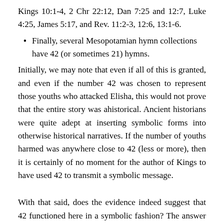Kings 10:1-4, 2 Chr 22:12, Dan 7:25 and 12:7, Luke 4:25, James 5:17, and Rev. 11:2-3, 12:6, 13:1-6.
Finally, several Mesopotamian hymn collections have 42 (or sometimes 21) hymns.
Initially, we may note that even if all of this is granted, and even if the number 42 was chosen to represent those youths who attacked Elisha, this would not prove that the entire story was ahistorical. Ancient historians were quite adept at inserting symbolic forms into otherwise historical narratives. If the number of youths harmed was anywhere close to 42 (less or more), then it is certainly of no moment for the author of Kings to have used 42 to transmit a symbolic message.
With that said, does the evidence indeed suggest that 42 functioned here in a symbolic fashion? The answer is, not really. Burnett's examples are certainly correct, to the extent that they used the number 42 in some way. But he has also biased the conclusion in a way that is similar to that of imitation theorists like Dennis